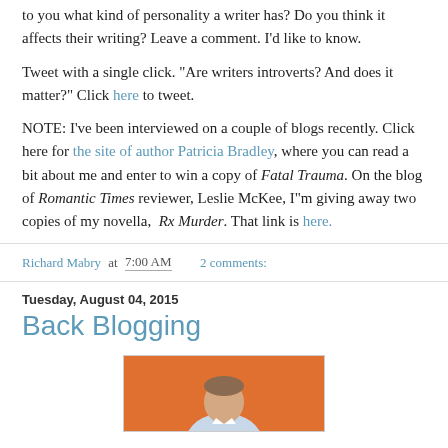to you what kind of personality a writer has? Do you think it affects their writing? Leave a comment. I'd like to know.
Tweet with a single click. "Are writers introverts? And does it matter?" Click here to tweet.
NOTE: I've been interviewed on a couple of blogs recently. Click here for the site of author Patricia Bradley, where you can read a bit about me and enter to win a copy of Fatal Trauma. On the blog of Romantic Times reviewer, Leslie McKee, I"m giving away two copies of my novella,  Rx Murder. That link is here.
Richard Mabry at 7:00 AM   2 comments:
Tuesday, August 04, 2015
Back Blogging
[Figure (photo): A person in a light blue shirt photographed against an orange background, cropped at the top of a blog post.]